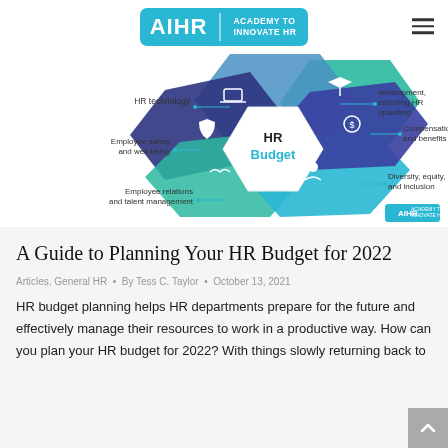AIHR | ACADEMY TO INNOVATE HR
[Figure (infographic): HR Budget planning diagram showing a central hexagon labeled 'HR Budget' surrounded by colored geometric shapes with icons and labels: HR technology (top-left), development including HR upskilling (top-right), Compensation and benefits (right), Diversity, equity, and inclusion (bottom-right), Employee relations and talent management (bottom-left), Employee safety and well-being (left). AIHR logo watermark bottom-right.]
A Guide to Planning Your HR Budget for 2022
Articles, General HR • By Tess C. Taylor • October 13, 2021
HR budget planning helps HR departments prepare for the future and effectively manage their resources to work in a productive way. How can you plan your HR budget for 2022? With things slowly returning back to